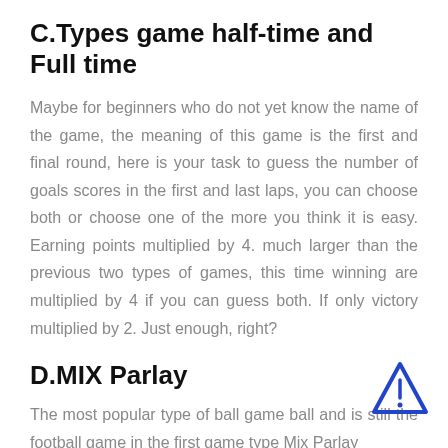C.Types game half-time and Full time
Maybe for beginners who do not yet know the name of the game, the meaning of this game is the first and final round, here is your task to guess the number of goals scores in the first and last laps, you can choose both or choose one of the more you think it is easy. Earning points multiplied by 4. much larger than the previous two types of games, this time winning are multiplied by 4 if you can guess both. If only victory multiplied by 2. Just enough, right?
D.MIX Parlay
The most popular type of ball game ball and is still the football game in the first game type Mix Parlay...